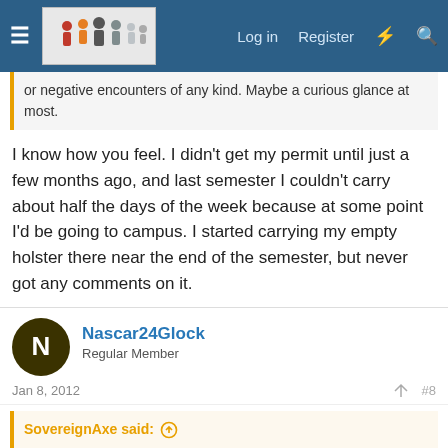Forum header with hamburger menu, logo, Log in, Register, and search icons
or negative encounters of any kind. Maybe a curious glance at most.
I know how you feel. I didn't get my permit until just a few months ago, and last semester I couldn't carry about half the days of the week because at some point I'd be going to campus. I started carrying my empty holster there near the end of the semester, but never got any comments on it.
Nascar24Glock
Regular Member
Jan 8, 2012
#8
SovereignAxe said:
I know how you feel. I didn't get my permit until just a few months ago, and last semester I couldn't carry about half the days of the week because at some point I'd be going to campus. I started carrying my empty holster there near the end of the semester, but never got any